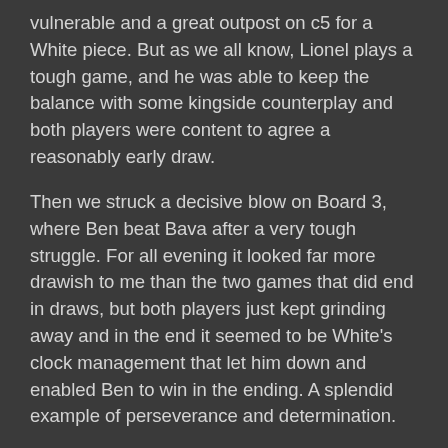vulnerable and a great outpost on c5 for a White piece. But as we all know, Lionel plays a tough game, and he was able to keep the balance with some kingside counterplay and both players were content to agree a reasonably early draw.
Then we struck a decisive blow on Board 3, where Ben beat Bava after a very tough struggle. For all evening it looked far more drawish to me than the two games that did end in draws, but both players just kept grinding away and in the end it seemed to be White's clock management that let him down and enabled Ben to win in the ending. A splendid example of perseverance and determination.
And so to Board 1, where I was playing Joshua for the first time OTB since January 2015 - other than the 27,000 blitz and rapid games we have played on club nights in those ensuing years - and for the first time in a Kenilworth v Coventry encounter - other than the three online games we played during lockdown, in one of which I/Joshua contrived to lose the league title for KCC through him winning. Still, I went into the game with a +3 =3 score